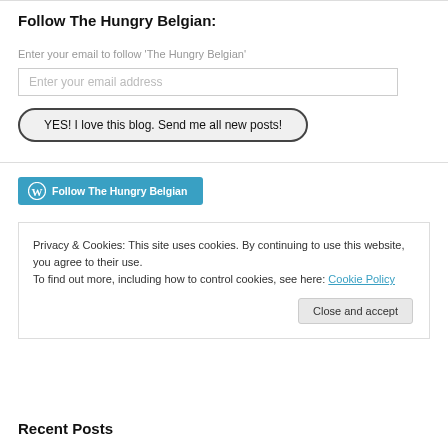Follow The Hungry Belgian:
Enter your email to follow 'The Hungry Belgian'
Enter your email address
YES! I love this blog. Send me all new posts!
[Figure (other): WordPress Follow The Hungry Belgian button (teal/cyan background with WordPress logo icon)]
Privacy & Cookies: This site uses cookies. By continuing to use this website, you agree to their use.
To find out more, including how to control cookies, see here: Cookie Policy
Close and accept
Recent Posts